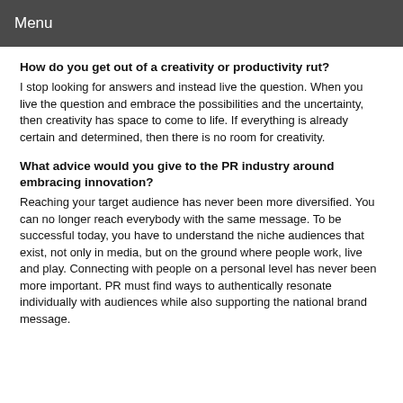Menu
How do you get out of a creativity or productivity rut?
I stop looking for answers and instead live the question. When you live the question and embrace the possibilities and the uncertainty, then creativity has space to come to life. If everything is already certain and determined, then there is no room for creativity.
What advice would you give to the PR industry around embracing innovation?
Reaching your target audience has never been more diversified. You can no longer reach everybody with the same message. To be successful today, you have to understand the niche audiences that exist, not only in media, but on the ground where people work, live and play. Connecting with people on a personal level has never been more important. PR must find ways to authentically resonate individually with audiences while also supporting the national brand message.